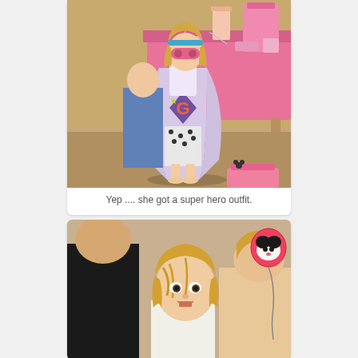[Figure (photo): A young girl wearing a pink superhero cape with a purple diamond shape bearing the letter G and a star, also wearing a pink mask and headband, standing at a party table decorated with pink Minnie Mouse tablecloth, with pink party supplies on the table and a pink gift bag on the floor.]
Yep .... she got a super hero outfit.
[Figure (photo): A young blonde girl looking up, surrounded by adults, with a Minnie Mouse balloon visible on the right side.]